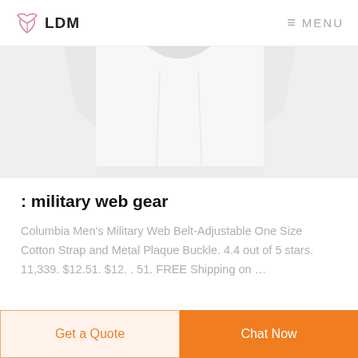LDM  MENU
[Figure (photo): Partial view of a white shirt/t-shirt product image against a light grey background]
: military web gear
Columbia Men's Military Web Belt-Adjustable One Size Cotton Strap and Metal Plaque Buckle. 4.4 out of 5 stars. 11,339. $12.51. $12. . 51. FREE Shipping on …
Get a Quote
Chat Now